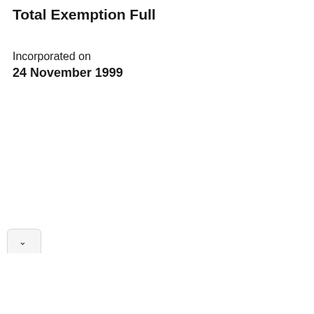Total Exemption Full
Incorporated on
24 November 1999